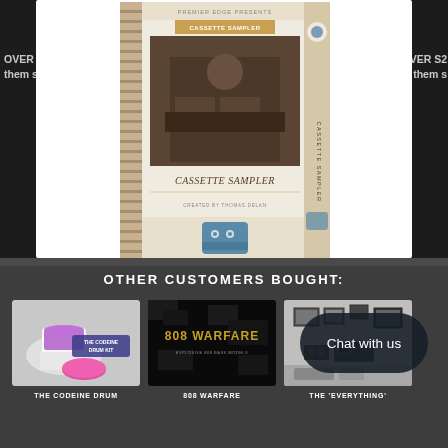[Figure (photo): Cassette Sampler product box art - a music production sample pack box with vintage design, showing a producer at a workstation, spine reads CASSETTE SAMPLER]
OVER S2
them s
OVER S2
them s
OTHER CUSTOMERS BOUGHT:
[Figure (photo): The Codeine Drum Kit product thumbnail - white cup with purple liquid and pink circle on grey background, labeled THE CODEINE DRUM KIT]
[Figure (photo): 808 Warfare product thumbnail - dark camo background with gold/yellow text reading 808 WARFARE, subtitle text below]
[Figure (photo): The Everything product thumbnail - grey/black and white image with frames on wall]
THE CODEINE DRUM
808 WARFARE
THE 'EVERYTHING'
Chat with us